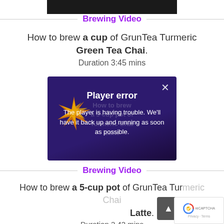[Figure (screenshot): Dark video thumbnail strip at the top of the page]
Brewing Video
How to brew a cup of GrunTea Turmeric Green Tea Chai.
Duration 3:45 mins
[Figure (screenshot): Video player error overlay with purple/dark background showing 'Player error' message and text: The player is having trouble. We'll have it back up and running as soon as possible.]
Brewing Video
How to brew a 5-cup pot of GrunTea Turmeric Chai Latte.
Duration 2.42 mins